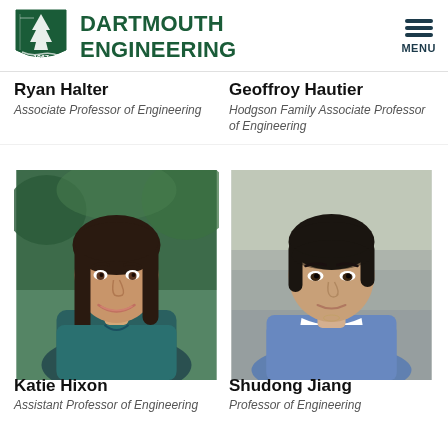[Figure (logo): Dartmouth Engineering shield logo with pine tree and 1867 text]
DARTMOUTH ENGINEERING
Ryan Halter
Associate Professor of Engineering
Geoffroy Hautier
Hodgson Family Associate Professor of Engineering
[Figure (photo): Headshot photo of Katie Hixon, woman with long dark hair, smiling, wearing teal top]
Katie Hixon
Assistant Professor of Engineering
[Figure (photo): Headshot photo of Shudong Jiang, woman with short dark hair, wearing blue top with white collar]
Shudong Jiang
Professor of Engineering